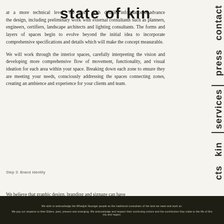state of kin
at a more technical level. We work with detailed information to advance the design, including preliminary work with external consultants such as planners, engineers, certifiers, landscape architects and lighting consultants. The forms and layers of spaces begin to evolve beyond the initial idea to incorporate comprehensive specifications and details which will make the concept measurable.
We will work through the interior spaces, carefully interpreting the vision and developing more comprehensive flow of movement, functionality, and visual ideation for each area within your space. Breaking down each zone to ensure they are meeting your needs, consciously addressing the spaces connecting zones, creating an ambience and experience for your clients and team.
Step 3: Brand Identity
We believe that graphic design, branding and signage can have
We wish to acknowledge the Whadjuk Noongar people as the traditional custodians of the land we meet and work on. We pay our respects to their Elders, past, present and emerging. We acknowledge and respect their continuing culture and the contribution they make to the life of this city and region.